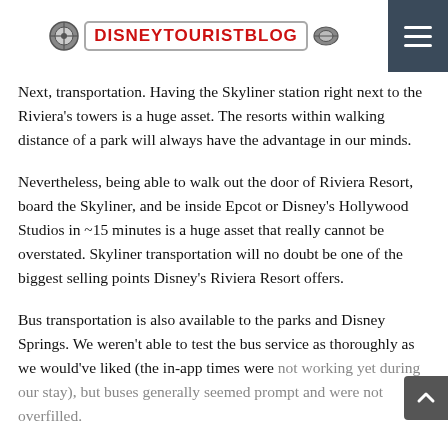DISNEYTOURISTBLOG
Next, transportation. Having the Skyliner station right next to the Riviera's towers is a huge asset. The resorts within walking distance of a park will always have the advantage in our minds.
Nevertheless, being able to walk out the door of Riviera Resort, board the Skyliner, and be inside Epcot or Disney's Hollywood Studios in ~15 minutes is a huge asset that really cannot be overstated. Skyliner transportation will no doubt be one of the biggest selling points Disney's Riviera Resort offers.
Bus transportation is also available to the parks and Disney Springs. We weren't able to test the bus service as thoroughly as we would've liked (the in-app times were not working yet during our stay), but buses generally seemed prompt and were not overfilled.